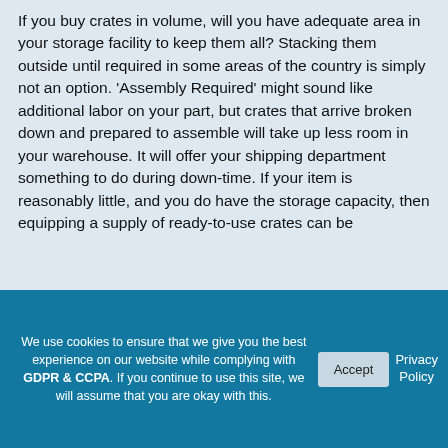If you buy crates in volume, will you have adequate area in your storage facility to keep them all? Stacking them outside until required in some areas of the country is simply not an option. 'Assembly Required' might sound like additional labor on your part, but crates that arrive broken down and prepared to assemble will take up less room in your warehouse. It will offer your shipping department something to do during down-time. If your item is reasonably little, and you do have the storage capacity, then equipping a supply of ready-to-use crates can be
We use cookies to ensure that we give you the best experience on our website while complying with GDPR & CCPA. If you continue to use this site, we will assume that you are okay with this.